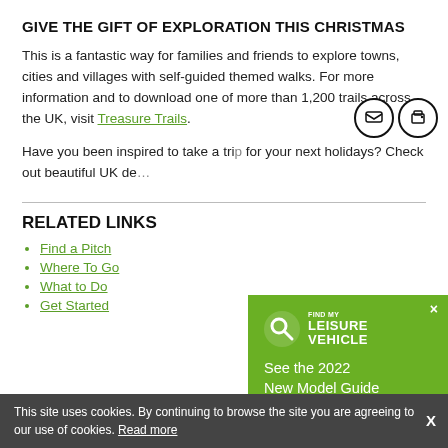GIVE THE GIFT OF EXPLORATION THIS CHRISTMAS
This is a fantastic way for families and friends to explore towns, cities and villages with self-guided themed walks. For more information and to download one of more than 1,200 trails across the UK, visit Treasure Trails.
Have you been inspired to take a trip for your next holidays? Check out beautiful UK de…
RELATED LINKS
Find a Pitch
Where To Go
What to Do
Get Started
[Figure (other): Find My Leisure Vehicle advertisement overlay with green background showing logo, 'See the 2022 New Model Guide' text and arrow]
This site uses cookies. By continuing to browse the site you are agreeing to our use of cookies. Read more